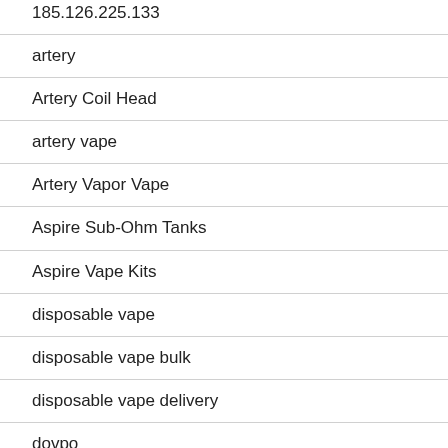185.126.225.133
artery
Artery Coil Head
artery vape
Artery Vapor Vape
Aspire Sub-Ohm Tanks
Aspire Vape Kits
disposable vape
disposable vape bulk
disposable vape delivery
dovpo